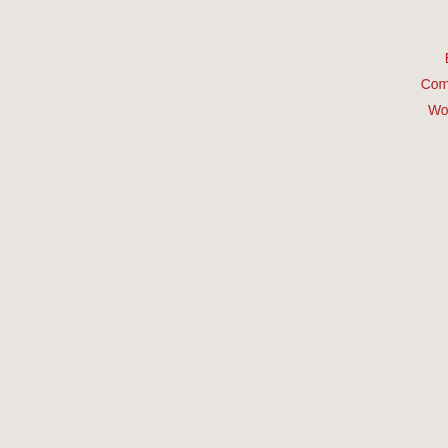Log in
Entries RSS
Comments RSS
WordPress.org
gave us the opportunity for close proximity today in view of their increased popularity without credit, permission, or reference).
We were not imitators nor were we following most, base our results on popularly available small group of us that was involved with the to questions that bothered us some, not far counted, and we were not engaged in a po
To give you an idea of how the community published a photo of myself holding a Ger popular Greek martial arts magazine, I wa
Today, HEMA are growing in popularity aro with my efforts several times over the year hand combat that turned out to be accurat Pammachon was something separate from based on simple etymology; Sofie Remijse translating an ancient papyrus. I made it c and, together with Nektarios, offered perha techniques, based on the ancient records: War College. I stumbled onto 19th century was stunned to find that it had been practi like a scene from a movie: imagine two sw farmhouse and stumbling onto a pack of p that hoplological work served to enhance n B11 and the Gracies. I was one of the fr